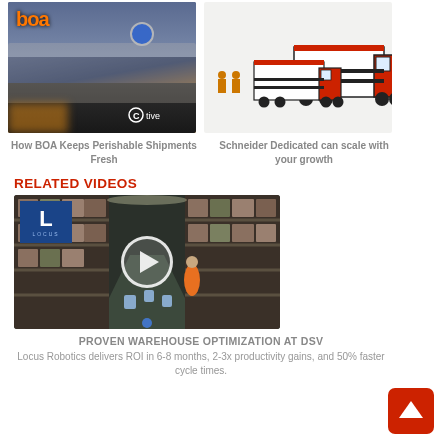[Figure (photo): Photo of a truck at night with BOA logo in orange top-left and Tive logo bottom-right, circular blue sensor visible]
How BOA Keeps Perishable Shipments Fresh
[Figure (illustration): Illustration of multiple orange and white semi-trucks with workers, isometric style on light gray background]
Schneider Dedicated can scale with your growth
RELATED VIDEOS
[Figure (screenshot): Video thumbnail showing a warehouse with robots and workers, Locus logo in top-left, play button overlay in center]
PROVEN WAREHOUSE OPTIMIZATION AT DSV
Locus Robotics delivers ROI in 6-8 months, 2-3x productivity gains, and 50% faster cycle times.